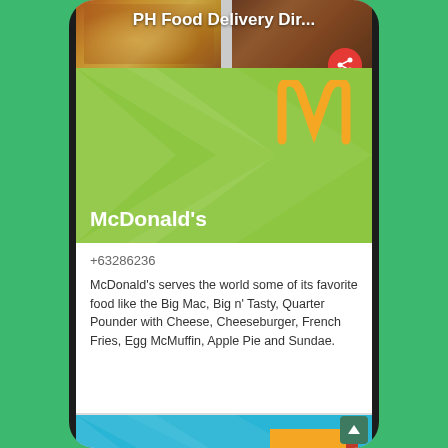[Figure (screenshot): Screenshot of a mobile app called PH Food Delivery Directory showing McDonald's and North Park restaurant listings with phone numbers and descriptions]
PH Food Delivery Dir...
McDonald's
+63286236
McDonald's serves the world some of its favorite food like the Big Mac, Big n' Tasty, Quarter Pounder with Cheese, Cheeseburger, French Fries, Egg McMuffin, Apple Pie and Sundae.
North Park
+63273737